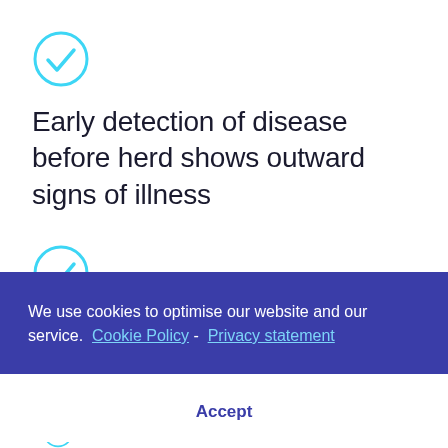[Figure (illustration): Cyan circle checkmark icon]
Early detection of disease before herd shows outward signs of illness
[Figure (illustration): Cyan circle checkmark icon (second)]
We use cookies to optimise our website and our service.  Cookie Policy -  Privacy statement
Accept
[Figure (illustration): Cyan circle checkmark icon (third, partially visible)]